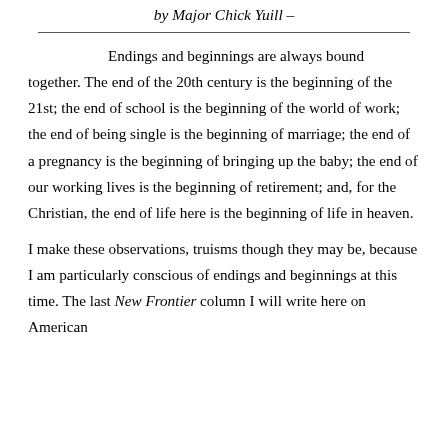by Major Chick Yuill –
Endings and beginnings are always bound together. The end of the 20th century is the beginning of the 21st; the end of school is the beginning of the world of work; the end of being single is the beginning of marriage; the end of a pregnancy is the beginning of bringing up the baby; the end of our working lives is the beginning of retirement; and, for the Christian, the end of life here is the beginning of life in heaven.
I make these observations, truisms though they may be, because I am particularly conscious of endings and beginnings at this time. The last New Frontier column I will write here on American